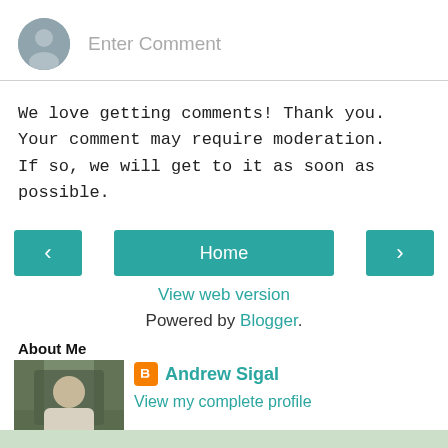[Figure (illustration): Grey avatar icon circle with silhouette]
Enter Comment
We love getting comments! Thank you. Your comment may require moderation. If so, we will get to it as soon as possible.
[Figure (infographic): Navigation buttons: left arrow, Home, right arrow]
View web version
Powered by Blogger.
About Me
[Figure (photo): Profile photo of Andrew Sigal]
Andrew Sigal
View my complete profile